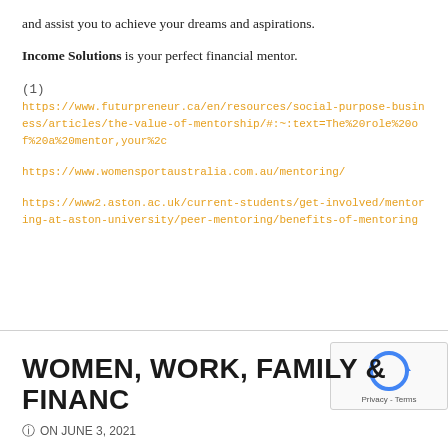and assist you to achieve your dreams and aspirations.
Income Solutions is your perfect financial mentor.
(1)
https://www.futurpreneur.ca/en/resources/social-purpose-business/articles/the-value-of-mentorship/#:~:text=The%20role%20of%20a%20mentor,your%20c
https://www.womensportaustralia.com.au/mentoring/
https://www2.aston.ac.uk/current-students/get-involved/mentoring-at-aston-university/peer-mentoring/benefits-of-mentoring
WOMEN, WORK, FAMILY & FINANC
© ON JUNE 3, 2021